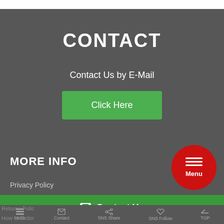CONTACT
Contact Us by E-Mail
Click Here
MORE INFO
Privacy Policy
Contact Us
Menu  Contact  SNS Share  SNS Follow  TOP
Returns Polic...
How to Order